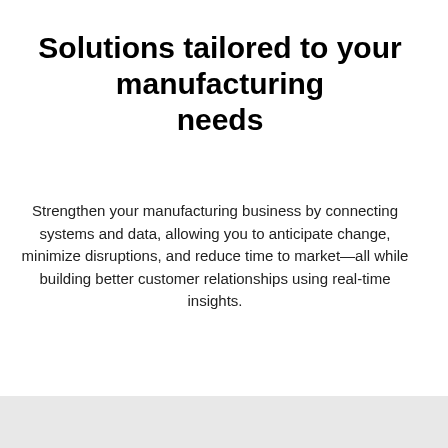Solutions tailored to your manufacturing needs
Strengthen your manufacturing business by connecting systems and data, allowing you to anticipate change, minimize disruptions, and reduce time to market—all while building better customer relationships using real-time insights.
[Figure (screenshot): Dropdown selector showing 'Design and training' with chevron arrow, and two blue icon buttons on the right side: a pencil/edit icon and a headset/support icon]